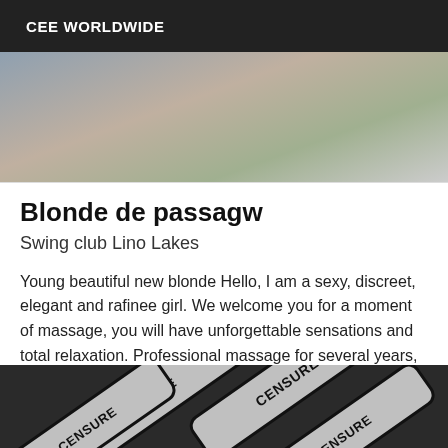CEE WORLDWIDE
[Figure (photo): Top portion of a photo showing a person, cropped]
Blonde de passagw
Swing club Lino Lakes
Young beautiful new blonde Hello, I am a sexy, discreet, elegant and rafinee girl. We welcome you for a moment of massage, you will have unforgettable sensations and total relaxation. Professional massage for several years, this is a moment in which ...
[Figure (photo): Censorship tape / stickers with text CENSURE overlaid on a photo]